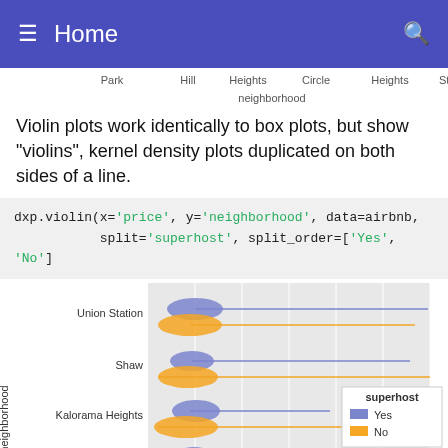Home
[Figure (other): Partial x-axis labels from a previous chart: Park, Hill, Heights, Circle, Heights, Station, neighborhood]
Violin plots work identically to box plots, but show "violins", kernel density plots duplicated on both sides of a line.
[Figure (other): Violin plot showing price distribution by neighborhood (Union Station, Shaw, Kalorama Heights, Edgewood, Dupont Circle) split by superhost (Yes=blue, No=orange). Legend shows superhost Yes (blue) and No (orange).]